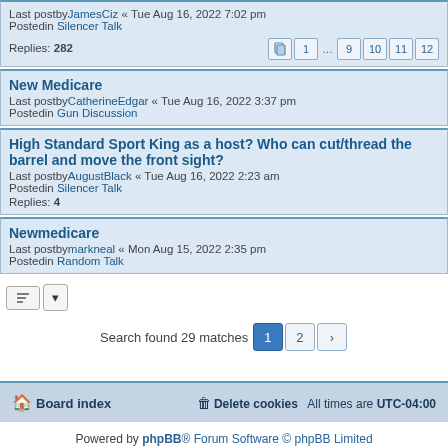Last postbyJamesCiz « Tue Aug 16, 2022 7:02 pm
Postedin Silencer Talk
Replies: 282
New Medicare
Last postbyCatherineEdgar « Tue Aug 16, 2022 3:37 pm
Postedin Gun Discussion
High Standard Sport King as a host? Who can cut/thread the barrel and move the front sight?
Last postbyAugustBlack « Tue Aug 16, 2022 2:23 am
Postedin Silencer Talk
Replies: 4
Newmedicare
Last postbymarkneal « Mon Aug 15, 2022 2:35 pm
Postedin Random Talk
Search found 29 matches 1 2 >
Board index | Delete cookies | All times are UTC-04:00
Powered by phpBB® Forum Software © phpBB Limited
Privacy | Terms
GZIP: Off | Load: 0.31